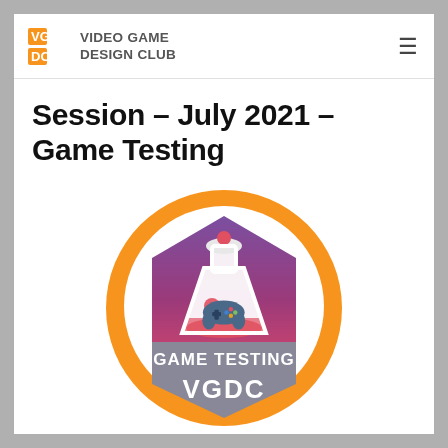VIDEO GAME DESIGN CLUB
Session – July 2021 – Game Testing
[Figure (logo): Circular badge with orange border, hexagonal background in purple/pink gradient, a laboratory flask containing a game controller, text 'GAME TESTING' and 'VGDC' in white on grey bottom panel]